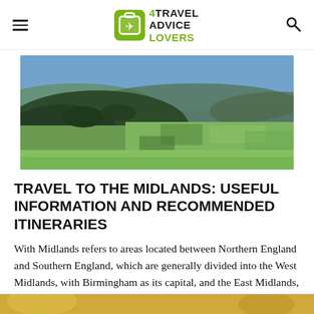4TRAVEL ADVICE LOVERS
[Figure (photo): Aerial landscape view of the Midlands, England — rolling green hills with dark tree-covered ridges and patchwork farmland countryside under a blue sky.]
TRAVEL TO THE MIDLANDS: USEFUL INFORMATION AND RECOMMENDED ITINERARIES
With Midlands refers to areas located between Northern England and Southern England, which are generally divided into the West Midlands, with Birmingham as its capital, and the East Midlands, with Melton Mowbray as its capital. In these counties English life is [...]
[Figure (photo): Partial view of another travel article image at the bottom of the page — yellow/golden toned landscape photo, partially cropped.]